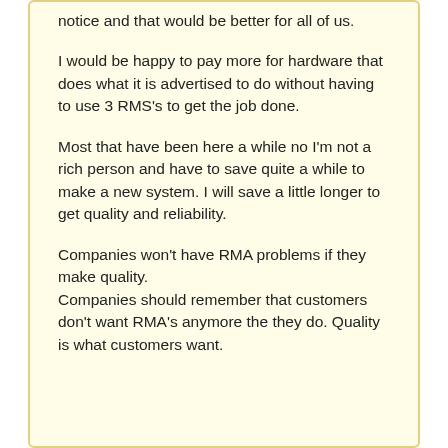notice and that would be better for all of us.
I would be happy to pay more for hardware that does what it is advertised to do without having to use 3 RMS's to get the job done.
Most that have been here a while no I'm not a rich person and have to save quite a while to make a new system. I will save a little longer to get quality and reliability.
Companies won't have RMA problems if they make quality.
Companies should remember that customers don't want RMA's anymore the they do. Quality is what customers want.